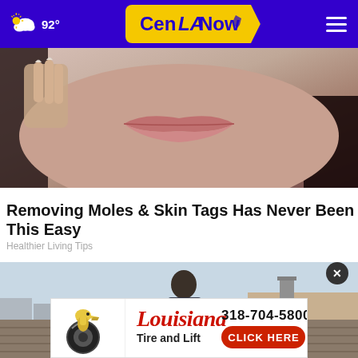92° CenLA Now
[Figure (photo): Close-up photo of a woman's face showing lips and hand holding something near her face, with dark hair visible]
Removing Moles & Skin Tags Has Never Been This Easy
Healthier Living Tips
[Figure (photo): Photo of a man working on a rooftop, leaning over roof tiles]
[Figure (other): Advertisement banner for Louisiana Tire and Lift showing phone number 318-704-5800 and a Click Here button]